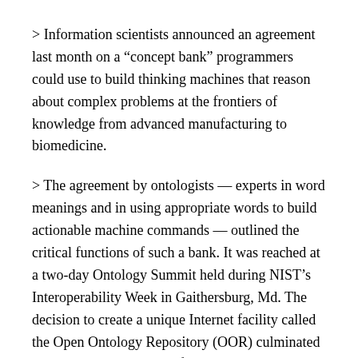> Information scientists announced an agreement last month on a “concept bank” programmers could use to build thinking machines that reason about complex problems at the frontiers of knowledge from advanced manufacturing to biomedicine.
> The agreement by ontologists — experts in word meanings and in using appropriate words to build actionable machine commands — outlined the critical functions of such a bank. It was reached at a two-day Ontology Summit held during NIST’s Interoperability Week in Gaithersburg, Md. The decision to create a unique Internet facility called the Open Ontology Repository (OOR) culminated more than three months of Internet discussion.
(Quote taken from [Science Blog report][sb]. The OOR proposal is [here][oor].)
When I was an undergraduate in college, I was both an